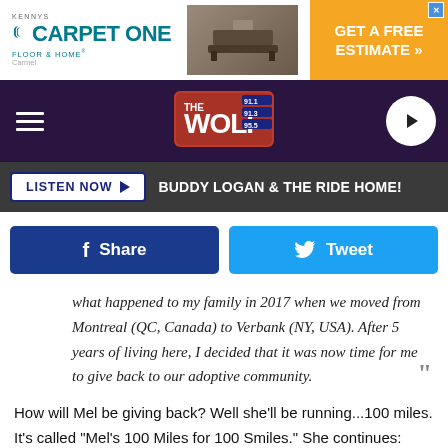[Figure (screenshot): Kennys Carpet One Floor & Home advertisement banner with orange GET A FREE ESTIMATE button]
[Figure (logo): The Wolf radio station logo navigation bar with hamburger menu and play button]
LISTEN NOW ▶   BUDDY LOGAN & THE RIDE HOME!
Share   Tweet
what happened to my family in 2017 when we moved from Montreal (QC, Canada) to Verbank (NY, USA). After 5 years of living here, I decided that it was now time for me to give back to our adoptive community.
How will Mel be giving back? Well she'll be running...100 miles. It's called "Mel's 100 Miles for 100 Smiles." She continues:
On April 2nd, I am planning on running 100 miles on